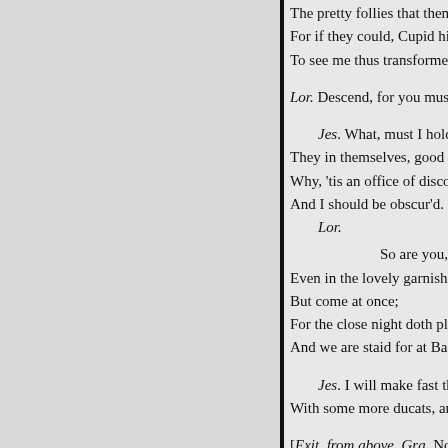The pretty follies that themselves commit,
For if they could, Cupid himself would blush
To see me thus transformed to a boy.
Lor. Descend, for you must be my torch-bearer.
Jes. What, must I hold a candle to my shames?
They in themselves, good sooth, are too too light.
Why, 'tis an office of discovery, love,
And I should be obscur'd.
Lor.
So are you, sweet,
Even in the lovely garnish of a boy.
But come at once;
For the close night doth play the runaway,
And we are staid for at Bassanio's feast.
Jes. I will make fast the doors, and gild myself
With some more ducats, and be with you straight.
[Exit, from above. Gra. Now, by my hood, a Gentile, and no Jew.
Lor. Beshrew me, but I love her heartily;
For she is wise, if I can judge of her,
And fair she is, if that mine eyes be true,